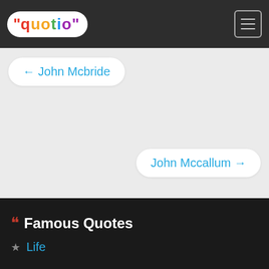"quotio" — navigation header with logo and hamburger menu
← John Mcbride
John Mccallum →
❝ Famous Quotes
★ Life